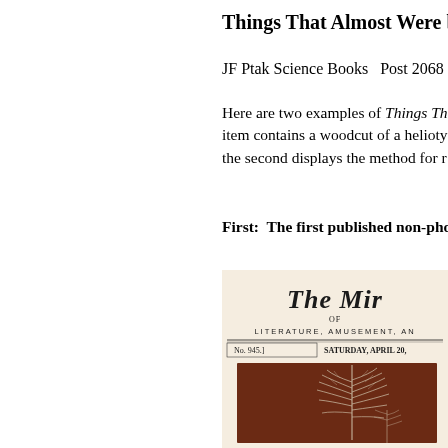Things That Almost Were bu
JF Ptak Science Books  Post 2068
Here are two examples of Things Th... item contains a woodcut of a helioty... the second displays the method for r...
First:  The first published non-pho
[Figure (photo): Cropped image of a historical newspaper named 'The Mir' with subtitle 'OF LITERATURE, AMUSEMENT, AN' and date line 'No. 945.]  SATURDAY, APRIL 20,' featuring a dark reddish-brown panel with a woodcut illustration of fern leaves.]